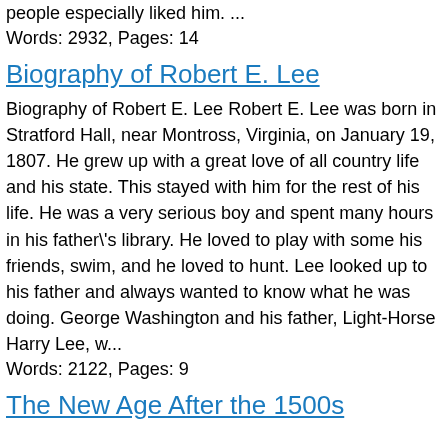people especially liked him. ...
Words: 2932, Pages: 14
Biography of Robert E. Lee
Biography of Robert E. Lee Robert E. Lee was born in Stratford Hall, near Montross, Virginia, on January 19, 1807. He grew up with a great love of all country life and his state. This stayed with him for the rest of his life. He was a very serious boy and spent many hours in his father\'s library. He loved to play with some his friends, swim, and he loved to hunt. Lee looked up to his father and always wanted to know what he was doing. George Washington and his father, Light-Horse Harry Lee, w...
Words: 2122, Pages: 9
The New Age After the 1500s